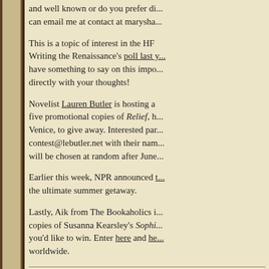and well known or do you prefer di... can email me at contact at marysha...
This is a topic of interest in the HF Writing the Renaissance's poll last y... have something to say on this impo... directly with your thoughts!
Novelist Lauren Butler is hosting a five promotional copies of Relief, h... Venice, to give away. Interested par... contest@lebutler.net with their nam... will be chosen at random after June...
Earlier this week, NPR announced t... the ultimate summer getaway.
Lastly, Aik from The Bookaholics i... copies of Susanna Kearsley's Sophi... you'd like to win. Enter here and he... worldwide.
Sarah Johnson  at  4:13 PM   2 c...
Share
MONDAY, JUNE 07, 2010